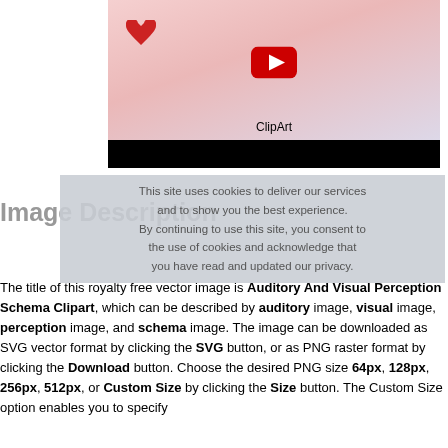[Figure (screenshot): YouTube video thumbnail showing ClipArt with hearts, Hello Kitty character, and owl illustration on pink background]
This site uses cookies to deliver our services and to show you the best experience. By continuing to use this site, you consent to the use of cookies and acknowledge that you have read and updated our privacy.
Image Description
The title of this royalty free vector image is Auditory And Visual Perception Schema Clipart, which can be described by auditory image, visual image, perception image, and schema image. The image can be downloaded as SVG vector format by clicking the SVG button, or as PNG raster format by clicking the Download button. Choose the desired PNG size 64px, 128px, 256px, 512px, or Custom Size by clicking the Size button. The Custom Size option enables you to specify